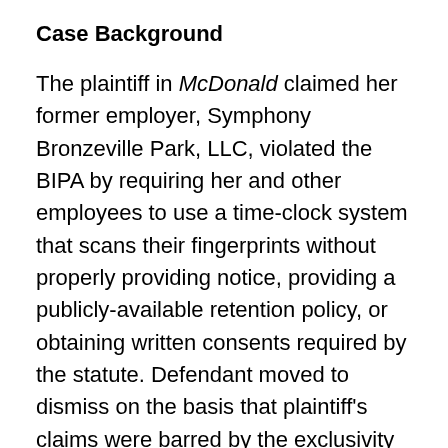Case Background
The plaintiff in McDonald claimed her former employer, Symphony Bronzeville Park, LLC, violated the BIPA by requiring her and other employees to use a time-clock system that scans their fingerprints without properly providing notice, providing a publicly-available retention policy, or obtaining written consents required by the statute. Defendant moved to dismiss on the basis that plaintiff's claims were barred by the exclusivity provisions of the IWCA, under which the sole remedies for employees who have suffered work-related injuries are the remedies set forth in the IWCA.
The trial court denied defendant's motion to dismiss